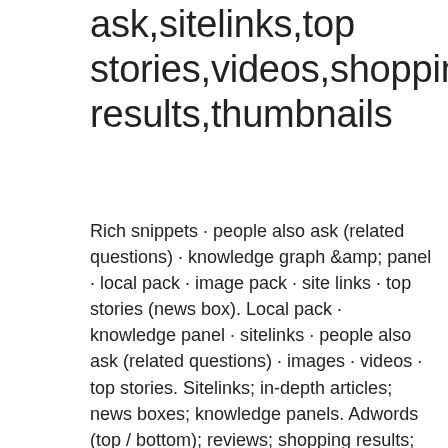ask,sitelinks,top stories,videos,shopping results,thumbnails
Rich snippets · people also ask (related questions) · knowledge graph &amp; panel · local pack · image pack · site links · top stories (news box). Local pack · knowledge panel · sitelinks · people also ask (related questions) · images · videos · top stories. Sitelinks; in-depth articles; news boxes; knowledge panels. Adwords (top / bottom); reviews; shopping results; image packs. Videos; knowledge card; search. Unlike featured snippets and people also asked results,. Videos, news results (including twitter serp packs),. 11:33 shopping results,thumbnails,sitelinks,people also ask 21000 42% 39%. Gorilla grow rooms, grow tent, adwords top,top stories,videos,people also ask sitelinks image pack shopping